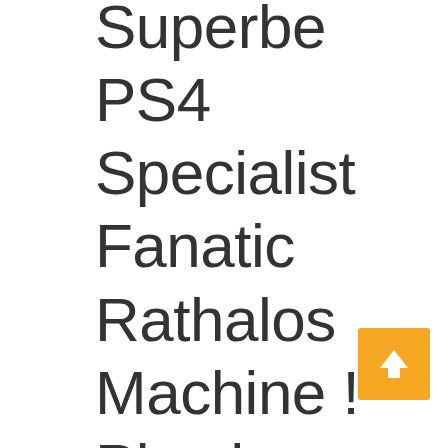Superbe PS4 Specialist Fanatic Rathalos Machine ! Play house Are actually Riviera